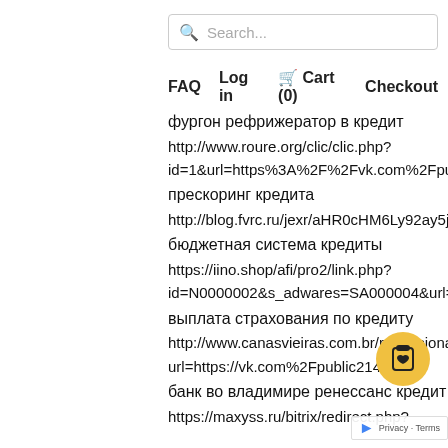[Figure (screenshot): Search bar with magnifying glass icon and placeholder text 'Search...']
FAQ  Log in  Cart (0)  Checkout
фургон рефрижератор в кредит
http://www.roure.org/clic/clic.php?id=1&url=https%3A%2F%2Fvk.com%2Fpublic214903…
прескоринг кредита
http://blog.fvrc.ru/jexr/aHR0cHM6Ly92ay5jb20vcHVibGljMjE0OTAz…
бюджетная система кредиты
https://iino.shop/afi/pro2/link.php?id=N0000002&s_adwares=SA000004&url=https://v…
выплата страхования по кредиту
http://www.canasvieiras.com.br/redireciona.php?url=https://vk.com%2Fpublic21490375…
банк во владимире ренессанс кредит
https://maxyss.ru/bitrix/redirect.php?…